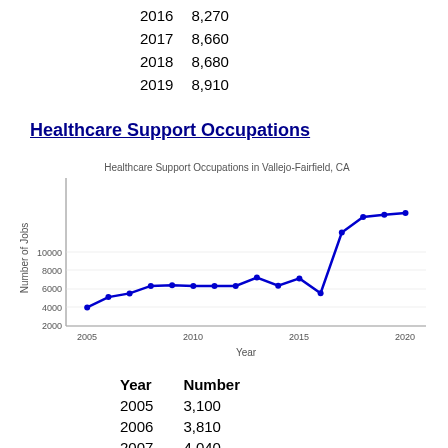| Year | Number |
| --- | --- |
| 2016 | 8,270 |
| 2017 | 8,660 |
| 2018 | 8,680 |
| 2019 | 8,910 |
Healthcare Support Occupations
[Figure (line-chart): Healthcare Support Occupations in Vallejo-Fairfield, CA]
| Year | Number |
| --- | --- |
| 2005 | 3,100 |
| 2006 | 3,810 |
| 2007 | 4,040 |